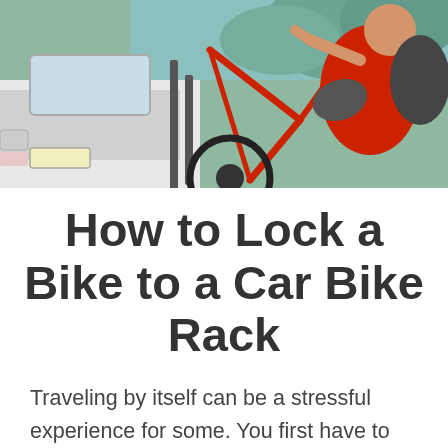[Figure (photo): A person in a red cycling jersey loading or securing a red bicycle onto the back of a white car, outdoors with green trees in the background.]
How to Lock a Bike to a Car Bike Rack
Traveling by itself can be a stressful experience for some. You first have to decide where you want to go. After picking the destination, you will have to find a hotel or a